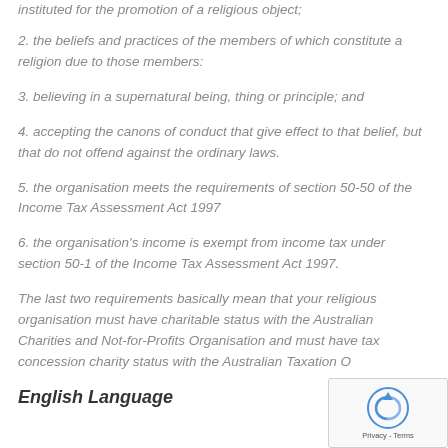instituted for the promotion of a religious object;
2. the beliefs and practices of the members of which constitute a religion due to those members:
3. believing in a supernatural being, thing or principle; and
4. accepting the canons of conduct that give effect to that belief, but that do not offend against the ordinary laws.
5. the organisation meets the requirements of section 50-50 of the Income Tax Assessment Act 1997
6. the organisation's income is exempt from income tax under section 50-1 of the Income Tax Assessment Act 1997.
The last two requirements basically mean that your religious organisation must have charitable status with the Australian Charities and Not-for-Profits Organisation and must have tax concession charity status with the Australian Taxation O...
English Language